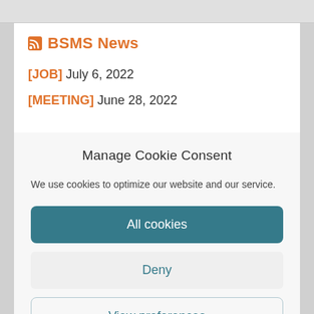BSMS News
[JOB] July 6, 2022
[MEETING] June 28, 2022
Manage Cookie Consent
We use cookies to optimize our website and our service.
All cookies
Deny
View preferences